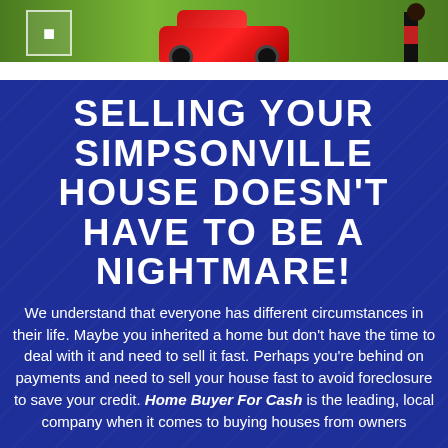[Figure (photo): Banner image with green background, red sports car in center, person on right side, logo/badge on left side]
SELLING YOUR SIMPSONVILLE HOUSE DOESN'T HAVE TO BE A NIGHTMARE!
We understand that everyone has different circumstances in their life. Maybe you inherited a home but don't have the time to deal with it and need to sell it fast. Perhaps you're behind on payments and need to sell your house fast to avoid foreclosure to save your credit. Home Buyer For Cash is the leading, local company when it comes to buying houses from owners